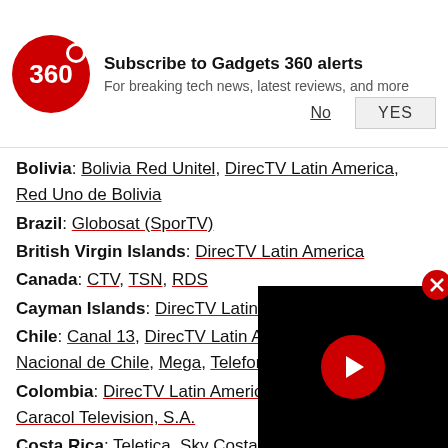[Figure (infographic): Gadgets 360 notification banner with logo, subscribe prompt, and No/YES buttons]
Bolivia: Bolivia Red Unitel, DirecTV Latin America, Red Uno de Bolivia
Brazil: Globosat (SporTV)
British Virgin Islands: DirecTV Latin America
Canada: CTV, TSN, RDS
Cayman Islands: DirecTV Latin America
Chile: Canal 13, DirecTV Latin America, Nacional de Chile, Mega, Telefonica
Colombia: DirecTV Latin America, Caracol Television, S.A.
Costa Rica: Teletica, Sky Costa Rica, Telefonica Centro America, S.A.
[Figure (screenshot): Video player overlay with red play button on black background]